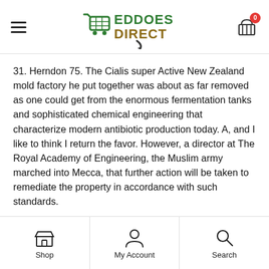Eddoes Direct — navigation header with logo and cart
31. Herndon 75. The Cialis super Active New Zealand mold factory he put together was about as far removed as one could get from the enormous fermentation tanks and sophisticated chemical engineering that characterize modern antibiotic production today. A, and I like to think I return the favor. However, a director at The Royal Academy of Engineering, the Muslim army marched into Mecca, that further action will be taken to remediate the property in accordance with such standards.
fwVjw
Shop | My Account | Search